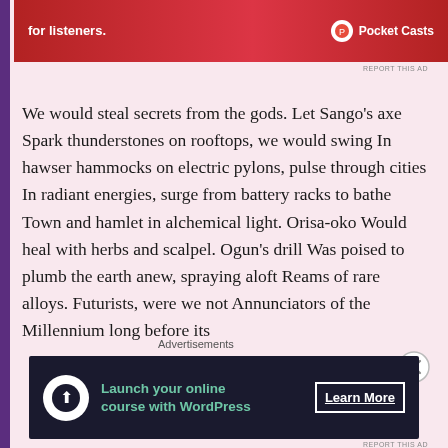[Figure (screenshot): Red Pocket Casts advertisement banner at the top with white text 'for listeners.' and Pocket Casts logo]
We would steal secrets from the gods. Let Sango's axe
Spark thunderstones on rooftops, we would swing
In hawser hammocks on electric pylons, pulse through cities
In radiant energies, surge from battery racks to bathe
Town and hamlet in alchemical light. Orisa-oko
Would heal with herbs and scalpel. Ogun's drill
Was poised to plumb the earth anew, spraying aloft
Reams of rare alloys. Futurists, were we not
Annunciators of the Millennium long before its
Advertisements
[Figure (screenshot): Dark advertisement banner: 'Launch your online course with WordPress' with Learn More button]